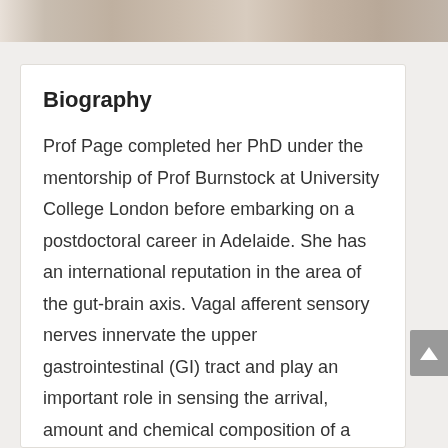[Figure (photo): Partial photo of a person, showing textured fabric/clothing, cropped at top of page]
Biography
Prof Page completed her PhD under the mentorship of Prof Burnstock at University College London before embarking on a postdoctoral career in Adelaide. She has an international reputation in the area of the gut-brain axis. Vagal afferent sensory nerves innervate the upper gastrointestinal (GI) tract and play an important role in sensing the arrival, amount and chemical composition of a meal. These signals are